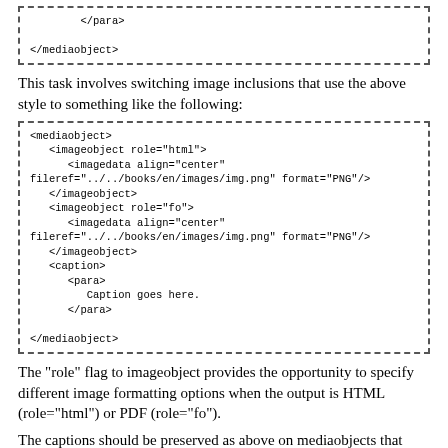[Figure (screenshot): Dashed-border code box showing XML: </para> and </mediaobject> tags]
This task involves switching image inclusions that use the above style to something like the following:
[Figure (screenshot): Dashed-border code box showing XML mediaobject with two imageobject elements (role=html and role=fo), each with imagedata align=center fileref=../../books/en/images/img.png format=PNG, plus caption with para containing 'Caption goes here.' and closing </mediaobject>]
The "role" flag to imageobject provides the opportunity to specify different image formatting options when the output is HTML (role="html") or PDF (role="fo").
The captions should be preserved as above on mediaobjects that have captions applied to them, and they should